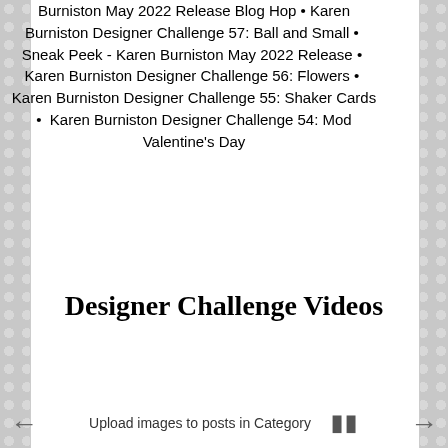Burniston May 2022 Release Blog Hop • Karen Burniston Designer Challenge 57: Ball and Small • Sneak Peek - Karen Burniston May 2022 Release • Karen Burniston Designer Challenge 56: Flowers • Karen Burniston Designer Challenge 55: Shaker Cards • Karen Burniston Designer Challenge 54: Mod Valentine's Day
Designer Challenge Videos
Upload images to posts in Category ❚❚
Blog powered by Typepad
Member since 10/2005